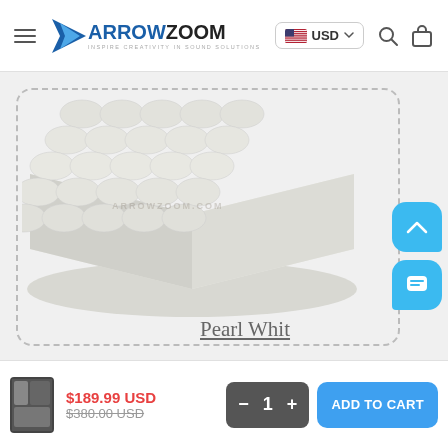ArrowZoom — USD (currency selector), search and cart icons
[Figure (photo): White acoustic foam panel with pyramid/pillow bumps arranged in a 5x5 grid, shown in a dashed-border box. Watermark text visible. Label 'Pearl White' shown at bottom right.]
Pearl White
$189.99 USD  $380.00 USD  [qty: - 1 +]  ADD TO CART